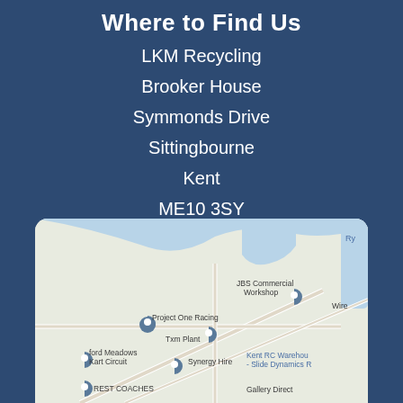Where to Find Us
LKM Recycling
Brooker House
Symmonds Drive
Sittingbourne
Kent
ME10 3SY
[Figure (map): Google Maps screenshot showing the area around LKM Recycling in Sittingbourne, Kent. Visible landmarks include Project One Racing, JBS Commercial Workshop, Txm Plant, Synergy Hire, Ford Meadows Kart Circuit, Kent RC Warehouse - Slide Dynamics R, REST COACHES, Gallery Direct, and Wire (partially visible). Map shows road layout with blue water features.]